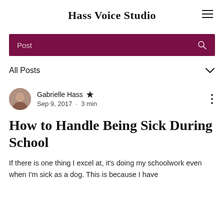Hass Voice Studio
[Figure (screenshot): Dark purple search bar with 'Post' text and search icon]
All Posts
[Figure (photo): Circular avatar photo of Gabrielle Hass]
Gabrielle Hass Admin
Sep 9, 2017 · 3 min
How to Handle Being Sick During School
If there is one thing I excel at, it's doing my schoolwork even when I'm sick as a dog. This is because I have